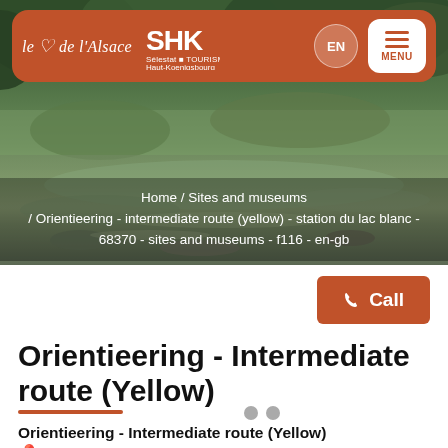[Figure (screenshot): Navigation header bar with orange/burnt-red rounded pill background containing 'le coeur de l'Alsace' logo text in white italic, SHK (Sélestat Tourisme Haut-Koenigsbourg) logo, EN language button, and MENU hamburger button on white rounded square.]
[Figure (photo): Hero nature photograph showing a stream or pond with green vegetation, trees and reflections in water, forming the page banner background.]
Home  /  Sites and museums  / Orientieering - intermediate route (yellow) - station du lac blanc - 68370 - sites and museums - f116 - en-gb
[Figure (other): Orange/red Call button with phone icon on right side of content area]
Orientieering - Intermediate route (Yellow)
Orientieering - Intermediate route (Yellow)
Le Blancrupt, 68370 Station du Lac